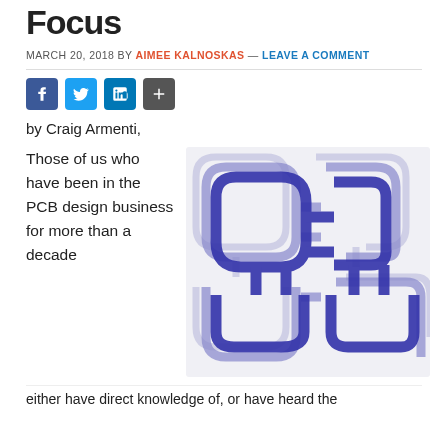Focus
MARCH 20, 2018 BY AIMEE KALNOSKAS — LEAVE A COMMENT
[Figure (illustration): Social media share buttons: Facebook, Twitter, LinkedIn, and a plus/share button]
by Craig Armenti,
Those of us who have been in the PCB design business for more than a decade
[Figure (illustration): PCB routing illustration showing interconnected traces in blue/purple colors on a light gray background, resembling a printed circuit board layout from above]
either have direct knowledge of, or have heard the